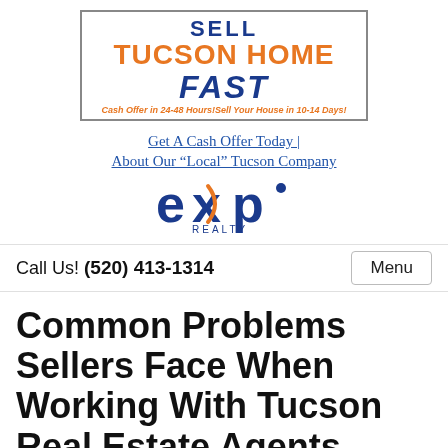[Figure (logo): Sell Tucson Home Fast logo with orange and dark blue text inside a rectangular border, with taglines 'Cash Offer in 24-48 Hours!' and 'Sell Your House in 10-14 Days!']
Get A Cash Offer Today | About Our “Local” Tucson Company
[Figure (logo): eXp Realty logo in dark blue with orange X highlight]
Call Us! (520) 413-1314
Menu
Common Problems Sellers Face When Working With Tucson Real Estate Agents